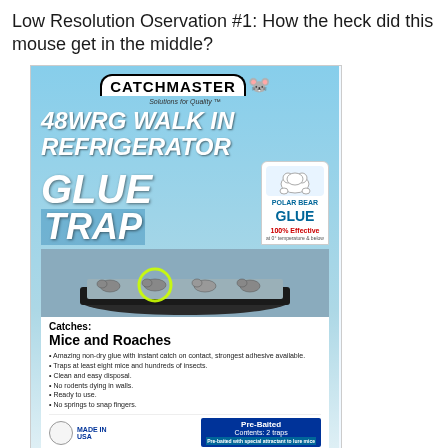Low Resolution Oservation #1: How the heck did this mouse get in the middle?
[Figure (photo): Product photo of a Catchmaster 48WRG Walk In Refrigerator Glue Trap box. Blue background with large white bold italic text reading '48WRG WALK IN REFRIGERATOR GLUE TRAP'. Features Polar Bear Glue badge. Shows image of glue trap tray with multiple mice caught, one circled in yellow in the middle. Bottom section shows 'Catches: Mice and Roaches' with bullet points listing features. Pre-baited, Contents: 2 traps.]
I assume that the material in the trap is sticky. Really sticky.